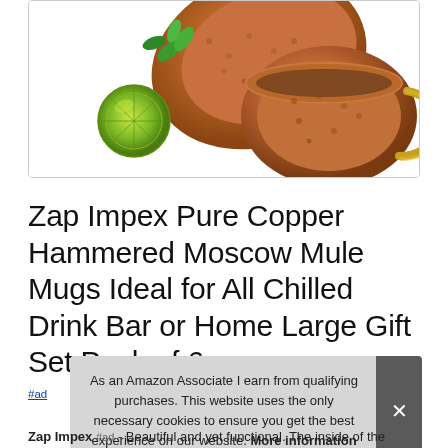[Figure (photo): Two copper hammered Moscow Mule mugs with a lime and mint leaves, shown on white background inside a rounded border box]
Zap Impex Pure Copper Hammered Moscow Mule Mugs Ideal for All Chilled Drink Bar or Home Large Gift Set Pack of 6 pcs
#ad
As an Amazon Associate I earn from qualifying purchases. This website uses the only necessary cookies to ensure you get the best experience on our website. More information
Zap Impex #ad - Beautiful and yet functional. The inside of the